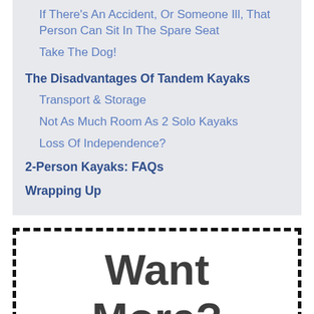If There's An Accident, Or Someone Ill, That Person Can Sit In The Spare Seat
Take The Dog!
The Disadvantages Of Tandem Kayaks
Transport & Storage
Not As Much Room As 2 Solo Kayaks
Loss Of Independence?
2-Person Kayaks: FAQs
Wrapping Up
[Figure (infographic): Dashed border box with large bold text reading 'Want More?']